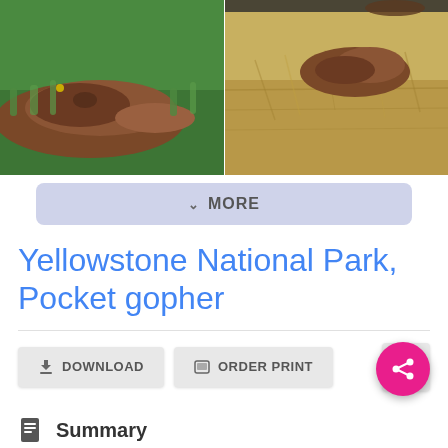[Figure (photo): Two side-by-side photos of pocket gophers. Left: a pocket gopher mound of dark reddish-brown soil on green grass. Right: a pocket gopher animal on dry tan grass.]
MORE
Yellowstone National Park, Pocket gopher
DOWNLOAD
ORDER PRINT
Summary